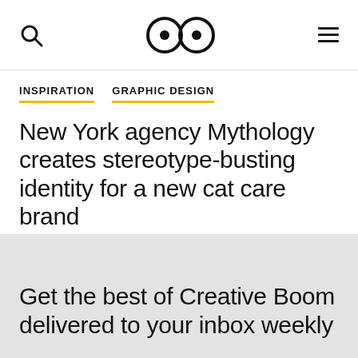[search icon] [eyes logo] [menu icon]
INSPIRATION  GRAPHIC DESIGN
New York agency Mythology creates stereotype-busting identity for a new cat care brand
5 May 2020
Get the best of Creative Boom delivered to your inbox weekly